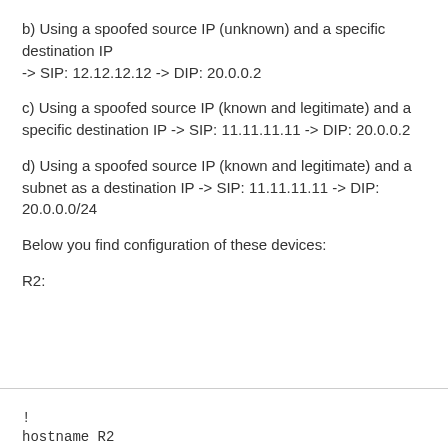b) Using a spoofed source IP (unknown) and a specific destination IP -> SIP: 12.12.12.12 -> DIP: 20.0.0.2
c) Using a spoofed source IP (known and legitimate) and a specific destination IP -> SIP: 11.11.11.11 -> DIP: 20.0.0.2
d) Using a spoofed source IP (known and legitimate) and a subnet as a destination IP -> SIP: 11.11.11.11 -> DIP: 20.0.0.0/24
Below you find configuration of these devices:
R2:
!
hostname R2